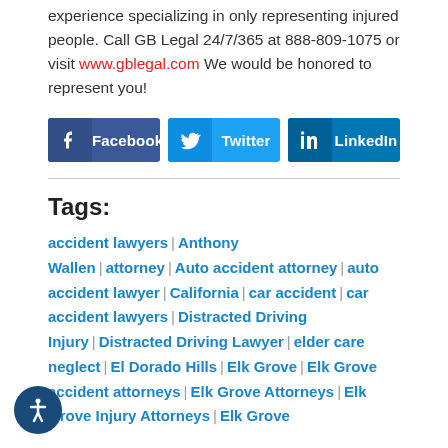experience specializing in only representing injured people. Call GB Legal 24/7/365 at 888-809-1075 or visit www.gblegal.com We would be honored to represent you!
[Figure (other): Social share buttons: Facebook, Twitter, LinkedIn]
Tags:
accident lawyers | Anthony Wallen | attorney | Auto accident attorney | auto accident lawyer | California | car accident | car accident lawyers | Distracted Driving Injury | Distracted Driving Lawyer | elder care neglect | El Dorado Hills | Elk Grove | Elk Grove accident attorneys | Elk Grove Attorneys | Elk Grove Injury Attorneys | Elk Grove